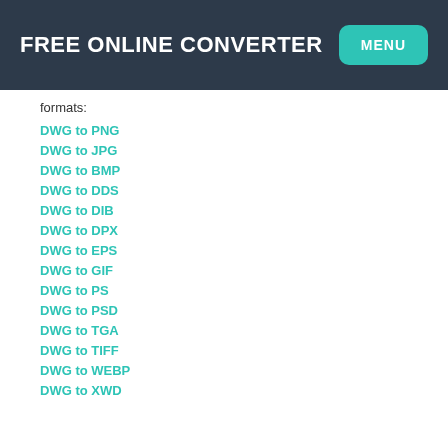FREE ONLINE CONVERTER
formats:
DWG to PNG
DWG to JPG
DWG to BMP
DWG to DDS
DWG to DIB
DWG to DPX
DWG to EPS
DWG to GIF
DWG to PS
DWG to PSD
DWG to TGA
DWG to TIFF
DWG to WEBP
DWG to XWD